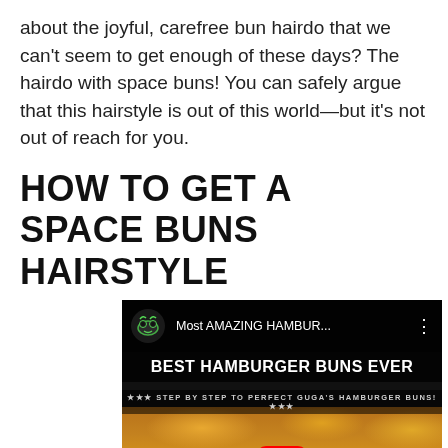about the joyful, carefree bun hairdo that we can't seem to get enough of these days? The hairdo with space buns! You can safely argue that this hairstyle is out of this world—but it's not out of reach for you.
HOW TO GET A SPACE BUNS HAIRSTYLE
[Figure (screenshot): YouTube video thumbnail showing 'Most AMAZING HAMBUR...' with text 'BEST HAMBURGER BUNS EVER' and '*** STEP BY STEP TO PERFECT GUGA'S HAMBURGER BUNS! ***', showing golden baked buns with a red YouTube play button overlay]